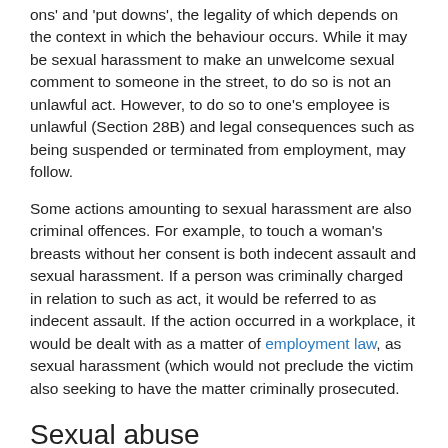ons' and 'put downs', the legality of which depends on the context in which the behaviour occurs. While it may be sexual harassment to make an unwelcome sexual comment to someone in the street, to do so is not an unlawful act. However, to do so to one's employee is unlawful (Section 28B) and legal consequences such as being suspended or terminated from employment, may follow.
Some actions amounting to sexual harassment are also criminal offences. For example, to touch a woman's breasts without her consent is both indecent assault and sexual harassment. If a person was criminally charged in relation to such as act, it would be referred to as indecent assault. If the action occurred in a workplace, it would be dealt with as a matter of employment law, as sexual harassment (which would not preclude the victim also seeking to have the matter criminally prosecuted.
Sexual abuse
Sexual abuse usually refers to the mistreatment of children. Rather than being a distinct criminal offence, it is a general category of behaviour which includes many different offences that can be committed against children, ranging from rape to indecent dealings with a child. The term sexual abuse is generally used when dealing with such matters in a non-criminal context. For example, in Family Law Proceedings, sexual abuse of children by a parent will be grounds for contact with that parent to be